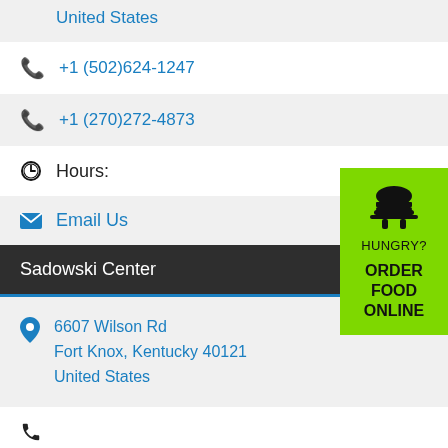United States
+1 (502)624-1247
+1 (270)272-4873
Hours:
Email Us
Sadowski Center
6607 Wilson Rd
Fort Knox, Kentucky 40121
United States
[Figure (infographic): Green banner with food/burger icon, text HUNGRY? ORDER FOOD ONLINE]